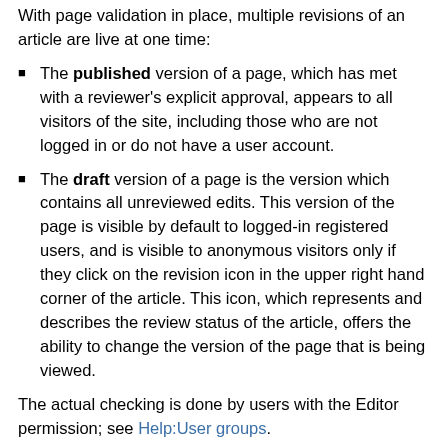With page validation in place, multiple revisions of an article are live at one time:
The published version of a page, which has met with a reviewer's explicit approval, appears to all visitors of the site, including those who are not logged in or do not have a user account.
The draft version of a page is the version which contains all unreviewed edits. This version of the page is visible by default to logged-in registered users, and is visible to anonymous visitors only if they click on the revision icon in the upper right hand corner of the article. This icon, which represents and describes the review status of the article, offers the ability to change the version of the page that is being viewed.
The actual checking is done by users with the Editor permission; see Help:User groups.